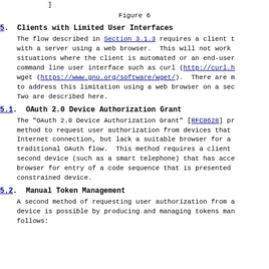]
Figure 6
5.  Clients with Limited User Interfaces
The flow described in Section 3.1.3 requires a client t with a server using a web browser.  This will not work situations where the client is automated or an end-user command line user interface such as curl (http://curl.h wget (https://www.gnu.org/software/wget/).  There are m to address this limitation using a web browser on a sec Two are described here.
5.1.  OAuth 2.0 Device Authorization Grant
The "OAuth 2.0 Device Authorization Grant" [RFC8628] pr method to request user authorization from devices that Internet connection, but lack a suitable browser for a traditional OAuth flow.  This method requires a client second device (such as a smart telephone) that has acce browser for entry of a code sequence that is presented constrained device.
5.2.  Manual Token Management
A second method of requesting user authorization from a device is possible by producing and managing tokens man follows: